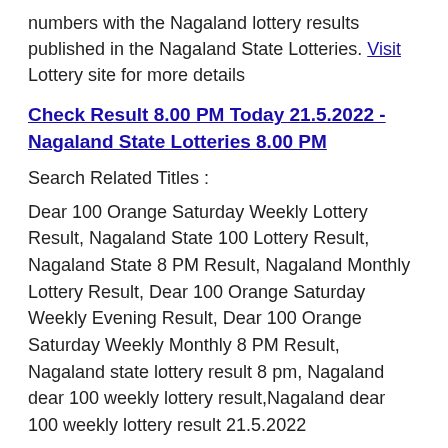numbers with the Nagaland lottery results published in the Nagaland State Lotteries. Visit Lottery site for more details
Check Result 8.00 PM Today 21.5.2022 - Nagaland State Lotteries 8.00 PM
Search Related Titles :
Dear 100 Orange Saturday Weekly Lottery Result, Nagaland State 100 Lottery Result, Nagaland State 8 PM Result, Nagaland Monthly Lottery Result, Dear 100 Orange Saturday Weekly Evening Result, Dear 100 Orange Saturday Weekly Monthly 8 PM Result, Nagaland state lottery result 8 pm, Nagaland dear 100 weekly lottery result,Nagaland dear 100 weekly lottery result 21.5.2022